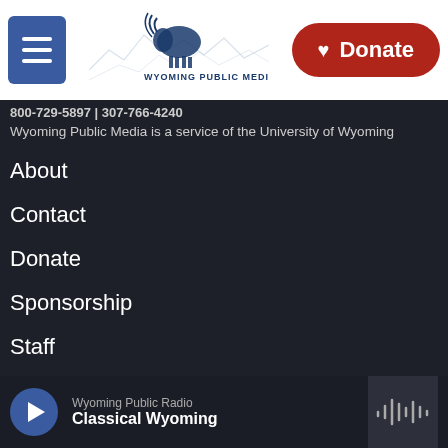[Figure (logo): Wyoming Public Media logo with bison and mountain background, menu hamburger button, and red Donate button]
800-729-5897 | 307-766-4240
Wyoming Public Media is a service of the University of Wyoming
About
Contact
Donate
Sponsorship
Staff
Regulatory Information
Wyoming Public Radio Classical Wyoming